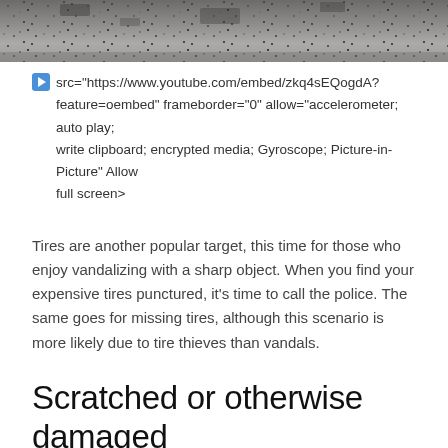[Figure (photo): Close-up photo of gravel or rough stone surface, shown at the top of the page as a cropped image strip.]
▶︎  src="https://www.youtube.com/embed/zkq4sEQogdA? feature=oembed" frameborder="0" allow="accelerometer; auto play; write clipboard; encrypted media; Gyroscope; Picture-in-Picture" Allow full screen>
Tires are another popular target, this time for those who enjoy vandalizing with a sharp object. When you find your expensive tires punctured, it's time to call the police. The same goes for missing tires, although this scenario is more likely due to tire thieves than vandals.
Scratched or otherwise damaged paintwork
It may not be caused by a knife sharp enough to slash tires, but damage to your paintwork can be just as devastating and almost as expensive to repair.